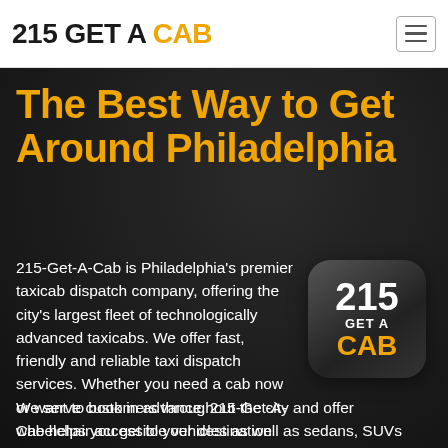215 GET A CAB
The Best Way to Get Around Philadelphia
215-Get-A-Cab is Philadelphia's premier taxicab dispatch company, offering the city's largest fleet of technologically advanced taxicabs. We offer fast, friendly and reliable taxi dispatch services. Whether you need a cab now or want to book in advance, 215-Get-A-Cab helps you get to your destination quickly and easily!
[Figure (logo): 215 GET A CAB app icon with dark rounded square background, white '215' and 'GET A' text, yellow 'CAB' text]
We serve customers throughout the city and offer wheelchair accessible vehicles as well as sedans, SUVs and minivans.